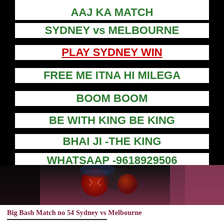AAJ KA MATCH
SYDNEY vs MELBOURNE
PLAY SYDNEY WIN
FREE ME ITNA HI MILEGA
BOOM BOOM
BE WITH KING BE KING
BHAI JI -THE KING
WHATSAAP -9618929506
[Figure (photo): Cricket match photo showing cricket balls and equipment, dark background with dark reddish tones]
Big Bash Match no 54 Sydney vs Melbourne
PUBLISHED ON: 2022-01-19
HI ALL